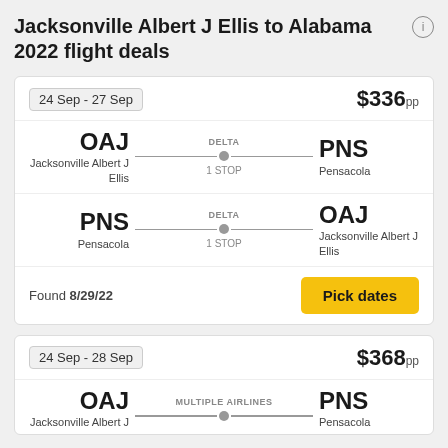Jacksonville Albert J Ellis to Alabama 2022 flight deals
24 Sep - 27 Sep
$336pp
OAJ Jacksonville Albert J Ellis — DELTA 1 STOP — PNS Pensacola
PNS Pensacola — DELTA 1 STOP — OAJ Jacksonville Albert J Ellis
Found 8/29/22
Pick dates
24 Sep - 28 Sep
$368pp
OAJ Jacksonville Albert J — MULTIPLE AIRLINES 1 STOP — PNS Pensacola